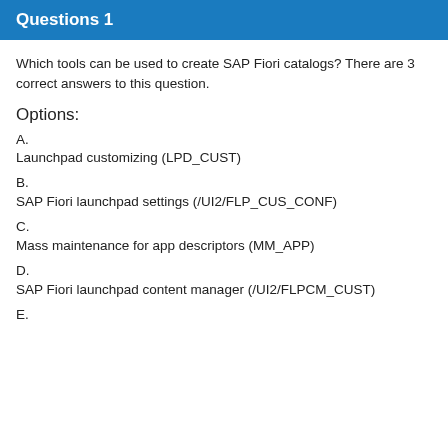Questions 1
Which tools can be used to create SAP Fiori catalogs? There are 3 correct answers to this question.
Options:
A.
Launchpad customizing (LPD_CUST)
B.
SAP Fiori launchpad settings (/UI2/FLP_CUS_CONF)
C.
Mass maintenance for app descriptors (MM_APP)
D.
SAP Fiori launchpad content manager (/UI2/FLPCM_CUST)
E.